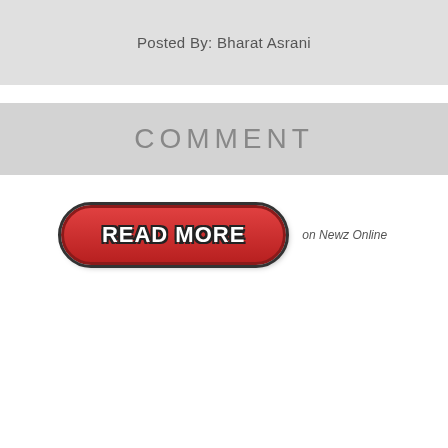Posted By: Bharat Asrani
COMMENT
[Figure (screenshot): A red pill-shaped 'READ MORE' button with white bold text and dark border, followed by 'on Newz Online' text in italic.]